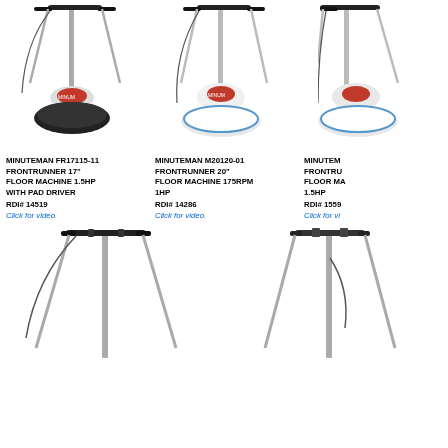[Figure (photo): Minuteman FR17115-11 FrontRunner 17-inch floor machine with dark pad driver, tall handle with cord]
[Figure (photo): Minuteman M20120-01 FrontRunner 20-inch floor machine with white/light pad driver, tall handle with cord]
[Figure (photo): Minuteman FrontRunner floor machine (partially visible), tall handle with cord]
MINUTEMAN FR17115-11 FRONTRUNNER 17" FLOOR MACHINE 1.5HP WITH PAD DRIVER
RDI# 14519
Click for video.
MINUTEMAN M20120-01 FRONTRUNNER 20" FLOOR MACHINE 175RPM 1HP
RDI# 14286
Click for video.
MINUTEMAN FRONTRU FLOOR MA 1.5HP
RDI# 1559
Click for vi
[Figure (photo): Floor machine partial view - top handle and pole visible]
[Figure (photo): Floor machine partial view - top handle and pole visible]